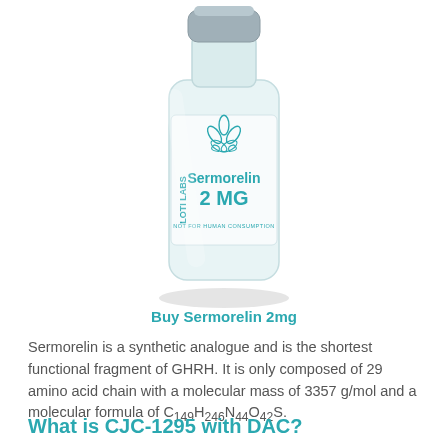[Figure (photo): A glass vial with a white and teal label reading 'LOTI LABS Sermorelin 2 MG NOT FOR HUMAN CONSUMPTION', with a teal lotus flower logo on the label. The vial has a gray metal crimp cap.]
Buy Sermorelin 2mg
Sermorelin is a synthetic analogue and is the shortest functional fragment of GHRH. It is only composed of 29 amino acid chain with a molecular mass of 3357 g/mol and a molecular formula of C149H246N44O42S.
What is CJC-1295 with DAC?